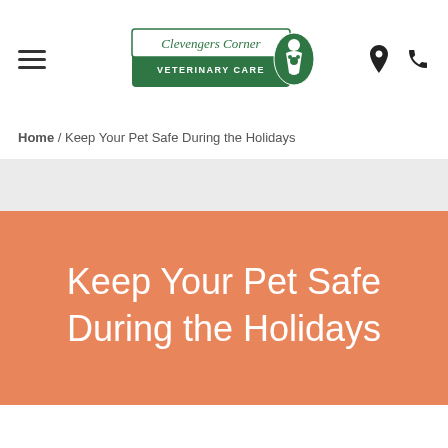[Figure (logo): Clevengers Corner Veterinary Care logo with green banner and animal silhouette]
Home / Keep Your Pet Safe During the Holidays
Keep Your Pet Safe During the Holidays